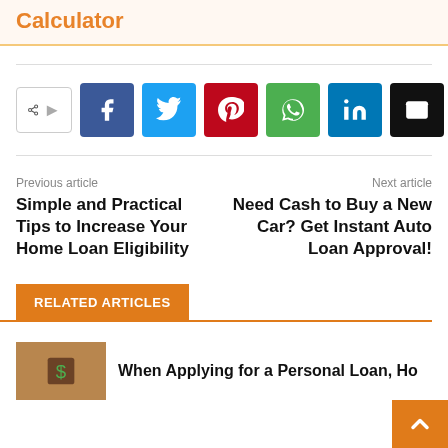Calculator
[Figure (infographic): Social share buttons: share toggle, Facebook, Twitter, Pinterest, WhatsApp, LinkedIn, Email]
Previous article
Simple and Practical Tips to Increase Your Home Loan Eligibility
Next article
Need Cash to Buy a New Car? Get Instant Auto Loan Approval!
RELATED ARTICLES
When Applying for a Personal Loan, Ho